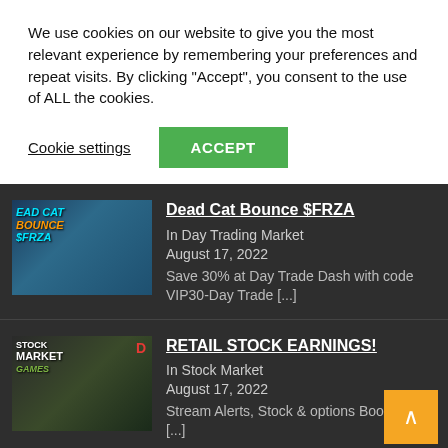We use cookies on our website to give you the most relevant experience by remembering your preferences and repeat visits. By clicking "Accept", you consent to the use of ALL the cookies.
Cookie settings
ACCEPT
Dead Cat Bounce $FRZA
In Day Trading Market
August 17, 2022
Save 30% at Day Trade Dash with code VIP30-Day Trade [...]
RETAIL STOCK EARNINGS!
In Stock Market
August 17, 2022
Stream Alerts, Stock & options Bootcamp [...]